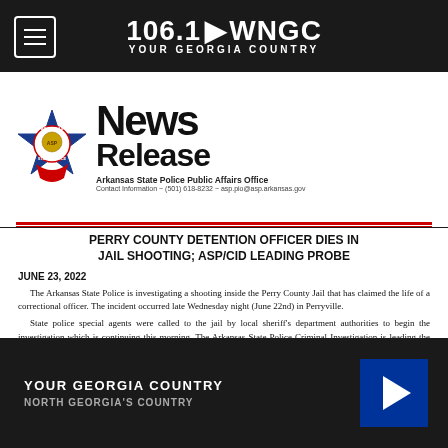106.1 WNGC YOUR GEORGIA COUNTRY
[Figure (screenshot): Arkansas State Police badge/seal logo with News Release header, Arkansas State Police Public Affairs Office contact info]
PERRY COUNTY DETENTION OFFICER DIES IN JAIL SHOOTING; ASP/CID LEADING PROBE
JUNE 23, 2022
The Arkansas State Police is investigating a shooting inside the Perry County Jail that has claimed the life of a correctional officer. The incident occurred late Wednesday night (June 22nd) in Perryville.
State police special agents were called to the jail by local sheriff's department authorities to begin the investigation which is continuing this morning. The Arkansas State Police Criminal Investigation is leading the probe into the circumstances of the apparent homicide.
A 37 year-old man who was in the process of being booked into the jail after his arrest by Perry County deputies is being held in connection with the shooting.
YOUR GEORGIA COUNTRY NORTH GEORGIA'S COUNTRY